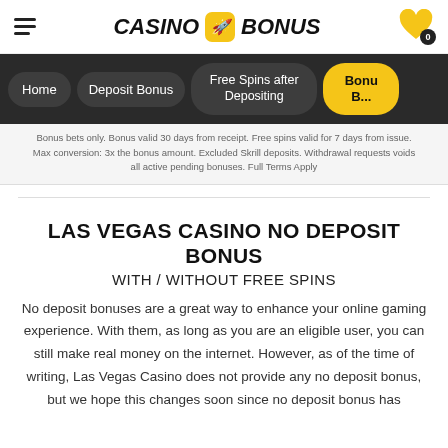CASINO BONUS
Home
Deposit Bonus
Free Spins after Depositing
Bonu... B...
Bonus bets only. Bonus valid 30 days from receipt. Free spins valid for 7 days from issue. Max conversion: 3x the bonus amount. Excluded Skrill deposits. Withdrawal requests voids all active pending bonuses. Full Terms Apply
LAS VEGAS CASINO NO DEPOSIT BONUS
WITH / WITHOUT FREE SPINS
No deposit bonuses are a great way to enhance your online gaming experience. With them, as long as you are an eligible user, you can still make real money on the internet. However, as of the time of writing, Las Vegas Casino does not provide any no deposit bonus, but we hope this changes soon since no deposit bonus has...